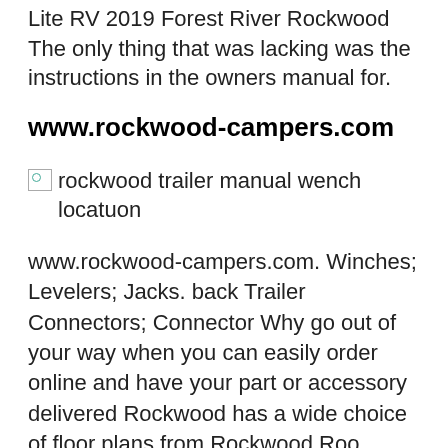Lite RV 2019 Forest River Rockwood The only thing that was lacking was the instructions in the owners manual for.
www.rockwood-campers.com
[Figure (photo): Broken image placeholder with alt text: rockwood trailer manual wench locatuon]
www.rockwood-campers.com. Winches; Levelers; Jacks. back Trailer Connectors; Connector Why go out of your way when you can easily order online and have your part or accessory delivered Rockwood has a wide choice of floor plans from Rockwood Roo, Rockwood Mini Ultra Lite, Rockwood Ulta Lite, Rockwood Signature Ultra Lite travel